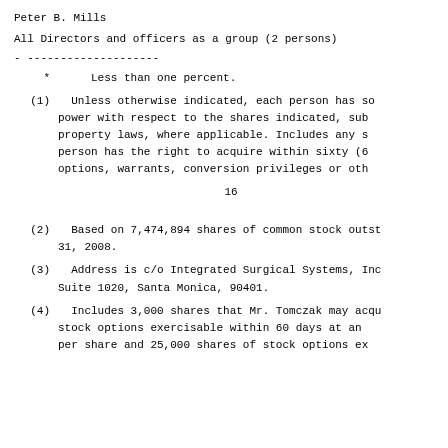Peter B. Mills
All Directors and officers as a group (2 persons)
- --------------------
*      Less than one percent.
(1)  Unless otherwise indicated, each person has so… power with respect to the shares indicated, sub… property laws, where applicable. Includes any s… person has the right to acquire within sixty (6… options, warrants, conversion privileges or oth…
16
(2)  Based on 7,474,894 shares of common stock outst… 31, 2008.
(3)  Address is c/o Integrated Surgical Systems, Inc… Suite 1020, Santa Monica, 90401.
(4)  Includes 3,000 shares that Mr. Tomczak may acqu… stock options exercisable within 60 days at an… per share and 25,000 shares of stock options ex…